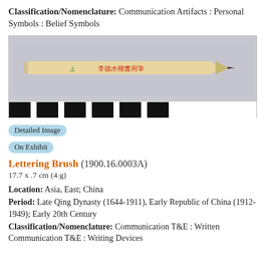Classification/Nomenclature: Communication Artifacts : Personal Symbols : Belief Symbols
[Figure (photo): A photograph of a wooden lettering brush (Chinese calligraphy brush) with Chinese characters printed in red on the barrel, shown horizontally against a light gray background with a black-and-white scale bar below.]
Detailed Image
On Exhibit
Lettering Brush (1900.16.0003A)
17.7 x .7 cm (4 g)
Location: Asia, East; China
Period: Late Qing Dynasty (1644-1911), Early Republic of China (1912-1949); Early 20th Century
Classification/Nomenclature: Communication T&E : Written Communication T&E : Writing Devices